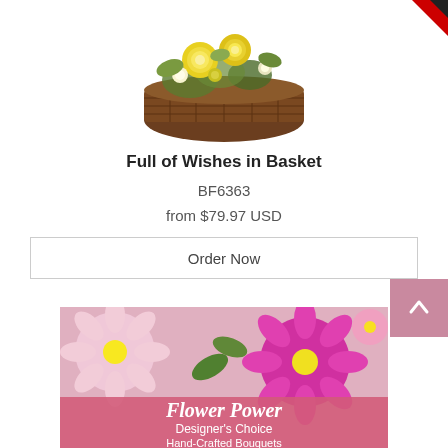[Figure (photo): Yellow flower arrangement in a wicker basket, viewed from slightly above. Flowers include yellow roses, green daisies, and other yellow blooms.]
Full of Wishes in Basket
BF6363
from $79.97 USD
Order Now
[Figure (photo): Pink and magenta gerbera daisies with a pink promotional banner overlay reading: Flower Power, Designer's Choice, Hand-Crafted Bouquets]